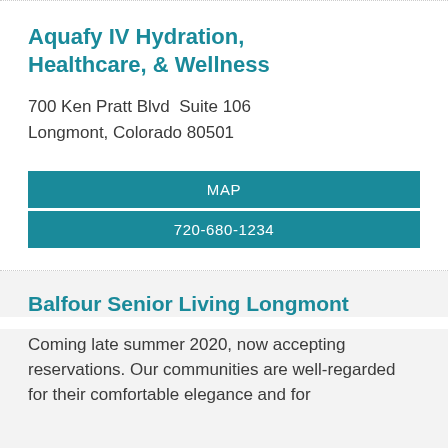Aquafy IV Hydration, Healthcare, & Wellness
700 Ken Pratt Blvd  Suite 106
Longmont, Colorado 80501
MAP
720-680-1234
Balfour Senior Living Longmont
Coming late summer 2020, now accepting reservations. Our communities are well-regarded for their comfortable elegance and for